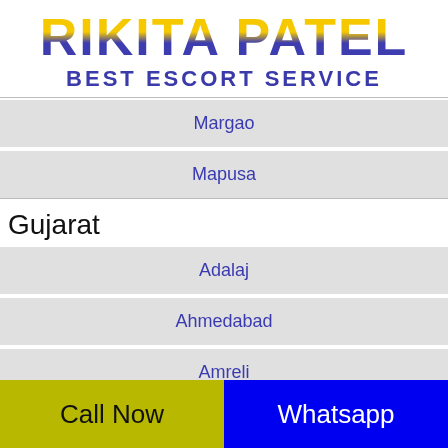RIKITA PATEL BEST ESCORT SERVICE
Margao
Mapusa
Gujarat
Adalaj
Ahmedabad
Amreli
Call Now   Whatsapp